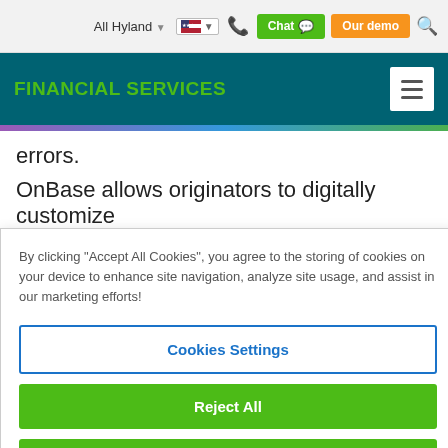All Hyland  [flag]  [phone]  Chat  Our demo  [search]
FINANCIAL SERVICES
errors.
OnBase allows originators to digitally customize
By clicking "Accept All Cookies", you agree to the storing of cookies on your device to enhance site navigation, analyze site usage, and assist in our marketing efforts!
Cookies Settings
Reject All
Accept All Cookies